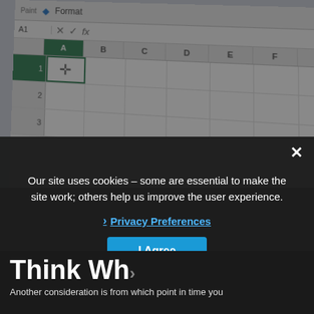[Figure (screenshot): Microsoft Excel spreadsheet screenshot showing formula bar with 'fx', cell reference A1, column headers A (selected/highlighted in green), B, C, D, E and row numbers 1, 2, 3. Cell A1 is selected with a green border and a cursor plus symbol visible.]
Our site uses cookies – some are essential to make the site work; others help us improve the user experience.
Privacy Preferences
I Agree
Think Wh
Another consideration is from which point in time you